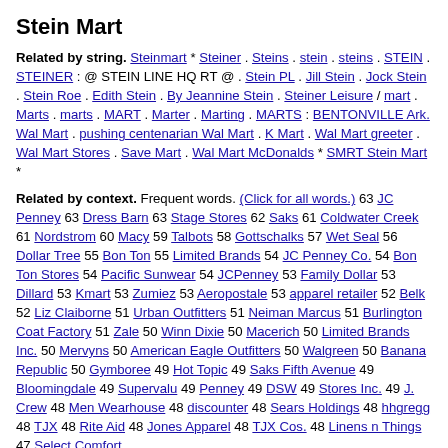Stein Mart
Related by string. Steinmart * Steiner . Steins . stein . steins . STEIN . STEINER : @ STEIN LINE HQ RT @ . Stein PL . Jill Stein . Jock Stein . Stein Roe . Edith Stein . By Jeannine Stein . Steiner Leisure / mart . Marts . marts . MART . Marter . Marting . MARTS : BENTONVILLE Ark. Wal Mart . pushing centenarian Wal Mart . K Mart . Wal Mart greeter . Wal Mart Stores . Save Mart . Wal Mart McDonalds * SMRT Stein Mart *
Related by context. Frequent words. (Click for all words.) 63 JC Penney 63 Dress Barn 63 Stage Stores 62 Saks 61 Coldwater Creek 61 Nordstrom 60 Macy 59 Talbots 58 Gottschalks 57 Wet Seal 56 Dollar Tree 55 Bon Ton 55 Limited Brands 54 JC Penney Co. 54 Bon Ton Stores 54 Pacific Sunwear 54 JCPenney 53 Family Dollar 53 Dillard 53 Kmart 53 Zumiez 53 Aeropostale 53 apparel retailer 52 Belk 52 Liz Claiborne 51 Urban Outfitters 51 Neiman Marcus 51 Burlington Coat Factory 51 Zale 50 Winn Dixie 50 Macerich 50 Limited Brands Inc. 50 Mervyns 50 American Eagle Outfitters 50 Walgreen 50 Banana Republic 50 Gymboree 49 Hot Topic 49 Saks Fifth Avenue 49 Bloomingdale 49 Supervalu 49 Penney 49 DSW 49 Stores Inc. 49 J. Crew 48 Men Wearhouse 48 discounter 48 Sears Holdings 48 hhgregg 48 TJX 48 Rite Aid 48 Jones Apparel 48 TJX Cos. 48 Linens n Things 47 Select Comfort